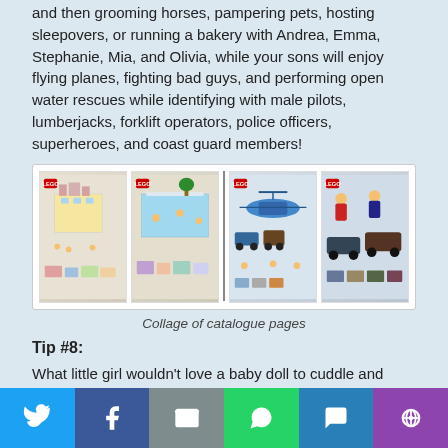and then grooming horses, pampering pets, hosting sleepovers, or running a bakery with Andrea, Emma, Stephanie, Mia, and Olivia, while your sons will enjoy flying planes, fighting bad guys, and performing open water rescues while identifying with male pilots, lumberjacks, forklift operators, police officers, superheroes, and coast guard members!
[Figure (photo): Collage of LEGO catalogue pages showing girls sets on the left half and boys action/vehicle sets on the right half, split by a vertical divider.]
Collage of catalogue pages
Tip #8:
What little girl wouldn't love a baby doll to cuddle and care for or a little